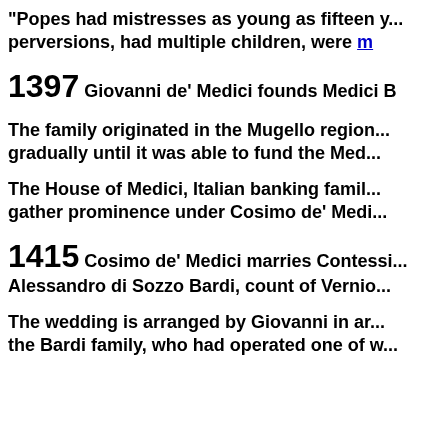"Popes had mistresses as young as fifteen y... perversions, had multiple children, were m...
1397 Giovanni de' Medici founds Medici B...
The family originated in the Mugello region... gradually until it was able to fund the Med...
The House of Medici, Italian banking famil... gather prominence under Cosimo de' Medi...
1415 Cosimo de' Medici marries Contessi... Alessandro di Sozzo Bardi, count of Vernio...
The wedding is arranged by Giovanni in ar... the Bardi family, who had operated one of w...